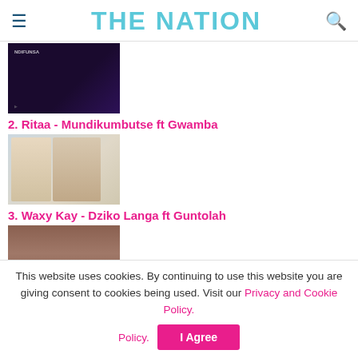THE NATION
[Figure (photo): Album cover thumbnail labeled NDIFUNSA with dark purple background]
2. Ritaa - Mundikumbutse ft Gwamba
[Figure (photo): Album cover thumbnail with two people on a warm background]
3. Waxy Kay - Dziko Langa ft Guntolah
[Figure (photo): Album cover thumbnail with a person in urban street setting]
4. Wikise1992 - Njoyako (Wikise 1992 x Dj Hugo Pro)
[Figure (photo): Album cover thumbnail with NJOYAKO text in pink/magenta on dark background]
This website uses cookies. By continuing to use this website you are giving consent to cookies being used. Visit our Privacy and Cookie Policy.